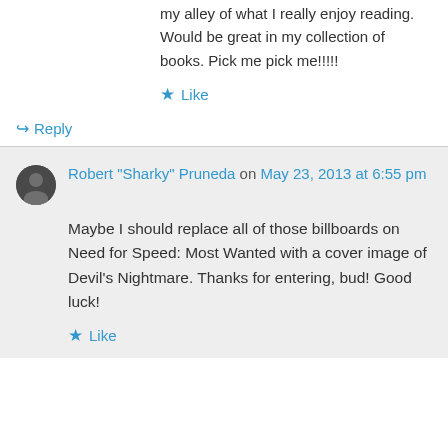my alley of what I really enjoy reading. Would be great in my collection of books. Pick me pick me!!!!!
★ Like
↪ Reply
Robert "Sharky" Pruneda on May 23, 2013 at 6:55 pm
Maybe I should replace all of those billboards on Need for Speed: Most Wanted with a cover image of Devil's Nightmare. Thanks for entering, bud! Good luck!
★ Like